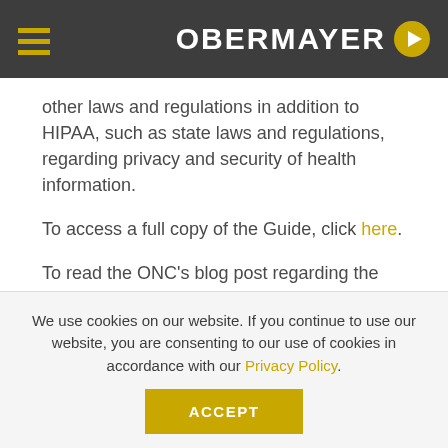OBERMAYER
other laws and regulations in addition to HIPAA, such as state laws and regulations, regarding privacy and security of health information.
To access a full copy of the Guide, click here.
To read the ONC's blog post regarding the release of the Guide, click here.
Categorized In: Business Associates, Covered
We use cookies on our website. If you continue to use our website, you are consenting to our use of cookies in accordance with our Privacy Policy.